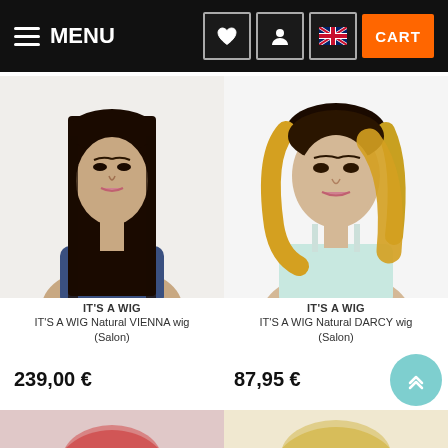MENU | heart icon | user icon | UK flag | CART
[Figure (photo): Woman with long straight dark brown hair wearing a navy top - IT'S A WIG Natural VIENNA wig (Salon)]
[Figure (photo): Woman with short blonde ombre bob hairstyle wearing a light blue top - IT'S A WIG Natural DARCY wig (Salon)]
IT'S A WIG
IT'S A WIG Natural VIENNA wig (Salon)
IT'S A WIG
IT'S A WIG Natural DARCY wig (Salon)
239,00 €
87,95 €
[Figure (photo): Partial view of a red/curly wig product at bottom left]
[Figure (photo): Partial view of a blonde wig product at bottom right]